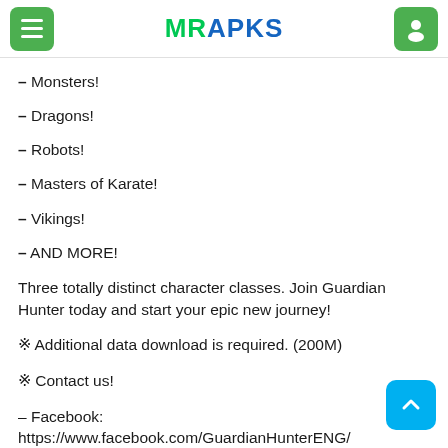MRAPKS
– Monsters!
– Dragons!
– Robots!
– Masters of Karate!
– Vikings!
– AND MORE!
Three totally distinct character classes. Join Guardian Hunter today and start your epic new journey!
※ Additional data download is required. (200M)
※ Contact us!
– Facebook: https://www.facebook.com/GuardianHunterENG/